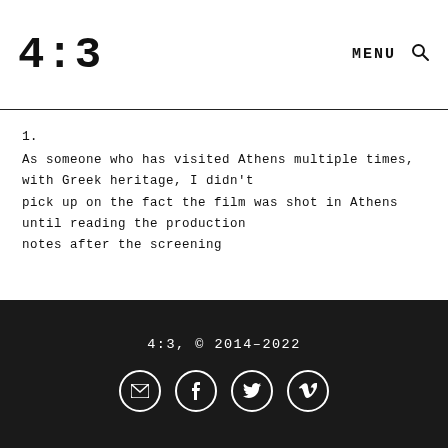4:3  MENU 🔍
1.
As someone who has visited Athens multiple times, with Greek heritage, I didn't pick upon the fact the film was shot in Athens until reading the production notes after the screening
4:3, © 2014-2022